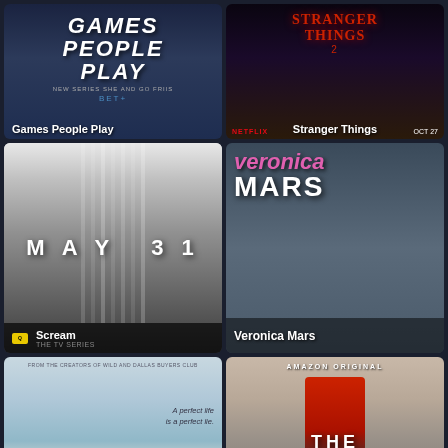[Figure (photo): Games People Play TV show poster - dark blue background with stylized white lettering]
Games People Play
[Figure (photo): Stranger Things season 2 Netflix promotional poster - dark horror atmosphere, red title logo, OCT 27 date]
Stranger Things
[Figure (photo): Scream TV series poster - black and white ghost face mask with vertical stripes, MAY 31 text]
Scream
[Figure (photo): Veronica Mars poster - pink and white title text over image of cast group under bridge, blonde woman in pink]
Veronica Mars
[Figure (photo): Big Little Lies movie/show poster - sky landscape with tagline 'A perfect life is a perfect lie', Nicole Kidman, Reese Witherspoon, Shailene Woodley credits]
[Figure (photo): The Boys Amazon Original poster - figure in red costume jumping, large white THE BOYS title text]